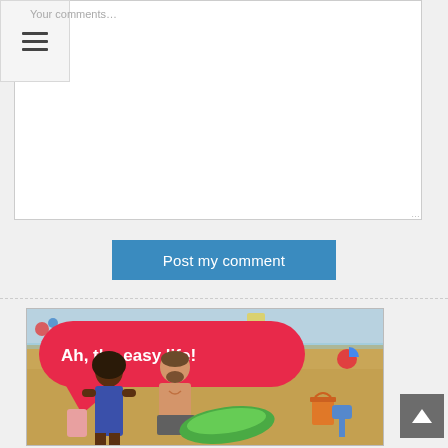Your comments…
[Figure (screenshot): Comment text area with hamburger menu icon overlay in top-left corner]
Post my comment
[Figure (photo): Advertisement image showing a beach scene with two people sitting on sand. A large red speech bubble reads 'Ah, the easy life!' in white bold text. There is an orange bucket in the background sand.]